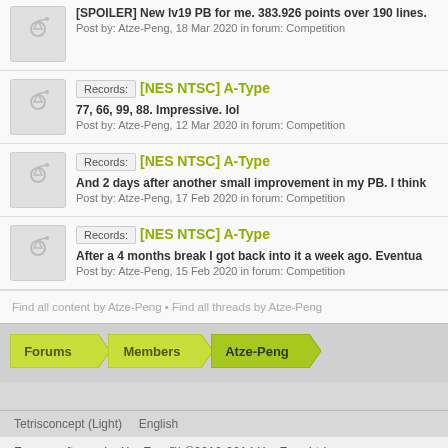[SPOILER] New lv19 PB for me. 383.926 points over 190 lines. Post by: Atze-Peng, 18 Mar 2020 in forum: Competition
Records: [NES NTSC] A-Type
77, 66, 99, 88. Impressive. lol
Post by: Atze-Peng, 12 Mar 2020 in forum: Competition
Records: [NES NTSC] A-Type
And 2 days after another small improvement in my PB. I think
Post by: Atze-Peng, 17 Feb 2020 in forum: Competition
Records: [NES NTSC] A-Type
After a 4 months break I got back into it a week ago. Eventua
Post by: Atze-Peng, 15 Feb 2020 in forum: Competition
Find all content by Atze-Peng • Find all threads by Atze-Peng
Forums  Members  Atze-Peng
Tetrisconcept (Light)    English
Forum software by XenForo™ ©2010-2014 XenForo Ltd.
Design by CyberAP